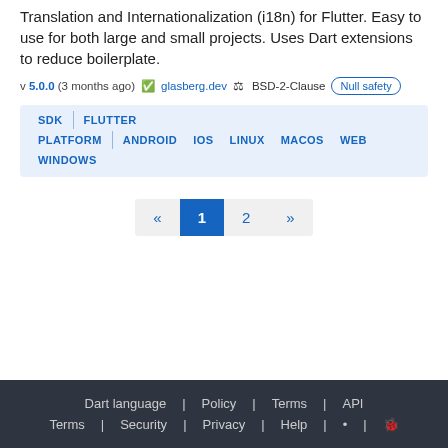Translation and Internationalization (i18n) for Flutter. Easy to use for both large and small projects. Uses Dart extensions to reduce boilerplate.
v 5.0.0 (3 months ago) glasberg.dev BSD-2-Clause Null safety
SDK FLUTTER PLATFORM ANDROID IOS LINUX MACOS WEB WINDOWS
« 1 2 »
Dart language | Policy | Terms | API Terms | Security | Privacy | Help | RSS | Bug